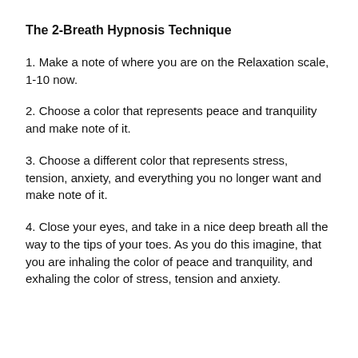The 2-Breath Hypnosis Technique
1. Make a note of where you are on the Relaxation scale, 1-10 now.
2. Choose a color that represents peace and tranquility and make note of it.
3. Choose a different color that represents stress, tension, anxiety, and everything you no longer want and make note of it.
4. Close your eyes, and take in a nice deep breath all the way to the tips of your toes. As you do this imagine, that you are inhaling the color of peace and tranquility, and exhaling the color of stress, tension and anxiety.